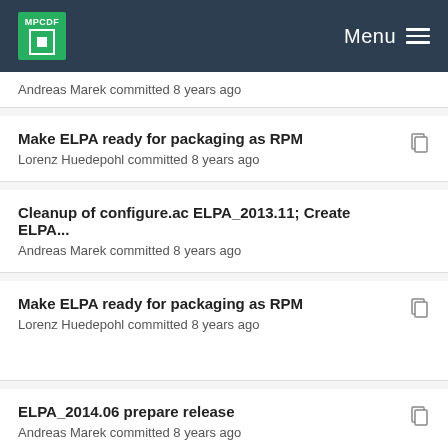MPCDF Menu
Andreas Marek committed 8 years ago
Make ELPA ready for packaging as RPM
Lorenz Huedepohl committed 8 years ago
Cleanup of configure.ac ELPA_2013.11; Create ELPA...
Andreas Marek committed 8 years ago
Make ELPA ready for packaging as RPM
Lorenz Huedepohl committed 8 years ago
ELPA_2014.06 prepare release
Andreas Marek committed 8 years ago
Make ELPA ready for packaging as RPM
Lorenz Huedepohl committed 8 years ago